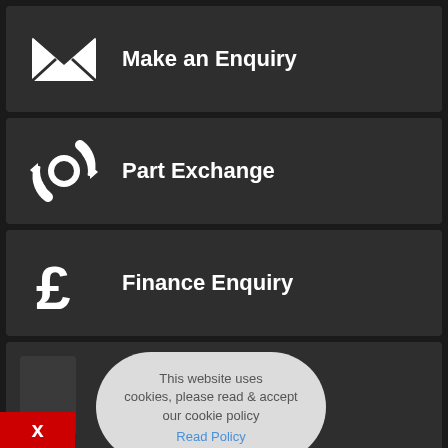[Figure (screenshot): Mobile app UI showing three menu buttons: Make an Enquiry, Part Exchange, Finance Enquiry, and a cookie consent popup.]
Make an Enquiry
Part Exchange
Finance Enquiry
This website uses cookies, please read & accept our cookie policy
Read Policy